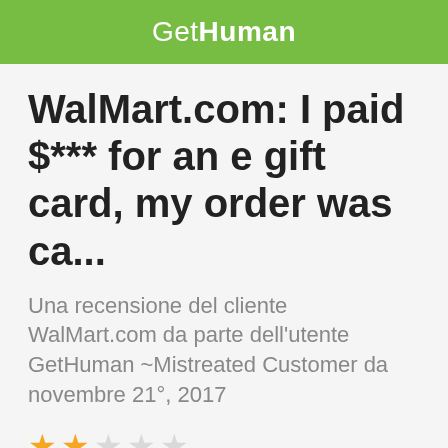GetHuman
WalMart.com: I paid $*** for an e gift card, my order was ca...
Una recensione del cliente WalMart.com da parte dell'utente GetHuman ~Mistreated Customer da novembre 21°, 2017
[Figure (other): 2 out of 5 stars rating: 2 filled stars and 3 empty stars]